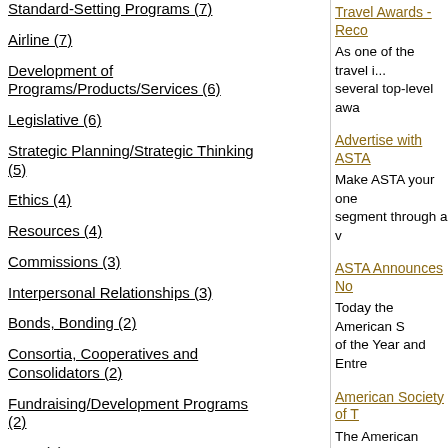Standard-Setting Programs (7)
Airline (7)
Development of Programs/Products/Services (6)
Legislative (6)
Strategic Planning/Strategic Thinking (5)
Ethics (4)
Resources (4)
Commissions (3)
Interpersonal Relationships (3)
Bonds, Bonding (2)
Consortia, Cooperatives and Consolidators (2)
Fundraising/Development Programs (2)
GDS (2)
Travel Awards - Reco... As one of the travel i... several top-level awa...
Advertise with ASTA ... Make ASTA your one... segment through a v...
ASTA Announces No... Today the American S... of the Year and Entre...
American Society of T... The American Societ... rebranded as the Am...
American Society of T... Released today is a g...
ASTA Responds to T... The Today Show ran...